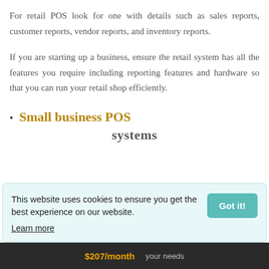For retail POS look for one with details such as sales reports, customer reports, vendor reports, and inventory reports.
If you are starting up a business, ensure the retail system has all the features you require including reporting features and hardware so that you can run your retail shop efficiently.
Small business POS
systems
This website uses cookies to ensure you get the best experience on our website.
Learn more